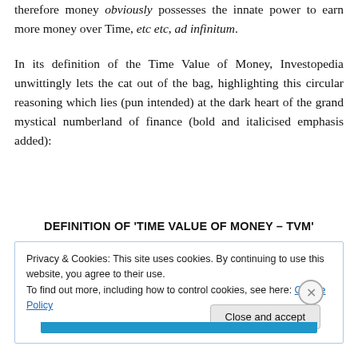therefore money obviously possesses the innate power to earn more money over Time, etc etc, ad infinitum.
In its definition of the Time Value of Money, Investopedia unwittingly lets the cat out of the bag, highlighting this circular reasoning which lies (pun intended) at the dark heart of the grand mystical numberland of finance (bold and italicised emphasis added):
DEFINITION OF 'TIME VALUE OF MONEY – TVM'
[Figure (screenshot): Cookie consent popup overlay on a webpage: 'Privacy & Cookies: This site uses cookies. By continuing to use this website, you agree to their use. To find out more, including how to control cookies, see here: Cookie Policy' with a close button (X) and a 'Close and accept' button. A blue bar is visible at the bottom.]